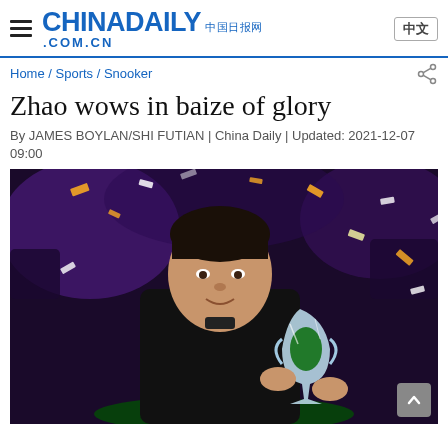CHINADAILY 中国日报网 .COM.CN  中文
Home / Sports / Snooker
Zhao wows in baize of glory
By JAMES BOYLAN/SHI FUTIAN | China Daily | Updated: 2021-12-07 09:00
[Figure (photo): Young Chinese snooker player Zhao Xintong holding a crystal trophy and smiling at the camera, with confetti falling in the background and a purple-lit crowd behind him. He is wearing a black suit.]